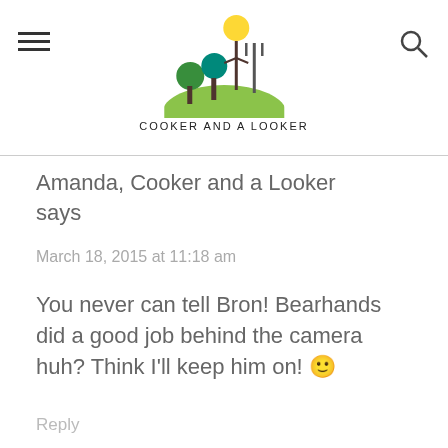COOKER AND A LOOKER
Amanda, Cooker and a Looker says
March 18, 2015 at 11:18 am
You never can tell Bron! Bearhands did a good job behind the camera huh? Think I'll keep him on! 🙂
Reply